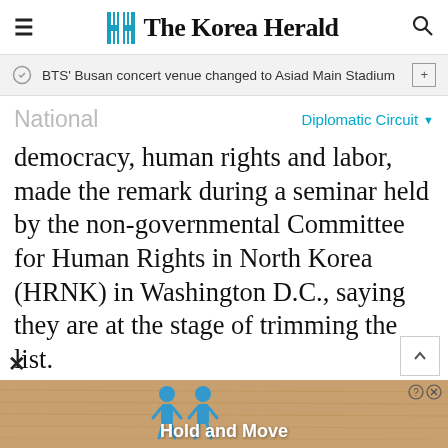The Korea Herald
BTS' Busan concert venue changed to Asiad Main Stadium
National
Diplomatic Circuit
democracy, human rights and labor, made the remark during a seminar held by the non-governmental Committee for Human Rights in North Korea (HRNK) in Washington D.C., saying they are at the stage of trimming the list.
In October, Busby said they were working on the list with a hope of releasing it in
[Figure (screenshot): Advertisement banner showing 'Hold and Move' with cartoon figures on a sandy/wood background, with close (X) button]